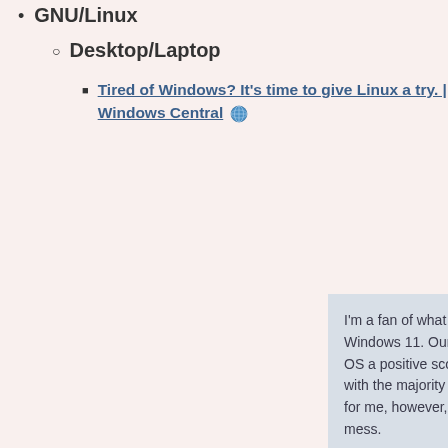GNU/Linux
Desktop/Laptop
Tired of Windows? It's time to give Linux a try. | Windows Central [globe icon]
I'm a fan of what Microsoft finally brought to the desktop with Windows 11. Our resident Windows expert Zac Bowden gave the OS a positive score in his incredible in-depth review and I agree with the majority of what was written. Where Windows falls flat for me, however, is with the installation process. It's absolute mess.
I have a few test rigs configured for various PC components review here at Windows Central and installing fresh copies of Windows for Intel's 12th Gen launch was riddled with issues from the get-go. The installer would either refuse to load or to see drives. In fact, one install required a 2.5-inch SATA S to be connected to the board in order for Windows 11 to successfully boot from the M.2 NVMe drive.
Interestingly, I never had an issue with the latest security measures that require trusted platform modules (or TPM) si most motherboards and processors released in the past fe years support it out of the box. It was more Windows havi